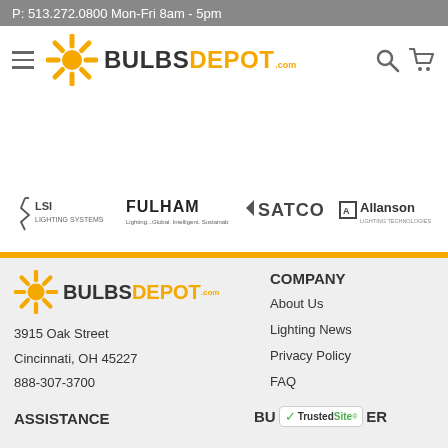P: 513.272.0800 Mon-Fri 8am - 5pm
[Figure (logo): BulbsDepot.com navigation bar with hamburger menu, sunburst logo, BULBS DEPOT .com text, search icon and cart icon]
[Figure (logo): Brand logos strip: LSI Lighting Systems, FULHAM Lighting Global Intelligent Sustainable, SATCO, Allanson Lighting Technologies Inc]
[Figure (logo): Footer BulbsDepot.com logo with sunburst]
3915 Oak Street
Cincinnati, OH 45227
888-307-3700
COMPANY
About Us
Lighting News
Privacy Policy
FAQ
ASSISTANCE
BU ER
[Figure (logo): TrustedSite badge with green checkmark]